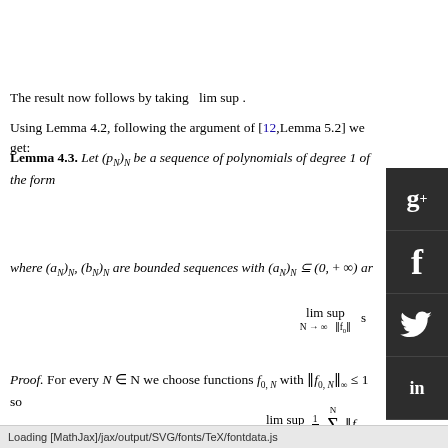The result now follows by taking  lim sup .
Using Lemma 4.2, following the argument of [12,Lemma 5.2] we get:
Lemma 4.3. Let (p_N)_N be a sequence of polynomials of degree 1 of the form
where (a_N)_N, (b_N)_N are bounded sequences with (a_N)_N ⊆ (0, + ∞) ar
Proof. For every N ∈ N we choose functions f_{0,N} with ‖f_{0,N}‖_∞ ≤ 1 so
We write [p_N(n)] = [a_N n + b_N] = [a_N n] + [b_N] + e(n,N),  e(n,N) ∈ {0,1}.
Loading [MathJax]/jax/output/SVG/fonts/TeX/fontdata.js